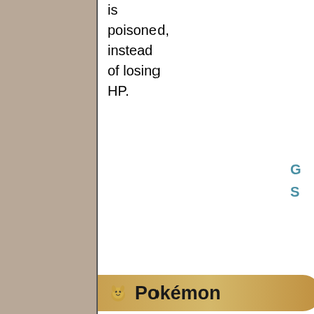is poisoned, instead of losing HP.
Pokémon
| Pokémon | Type | Ability | Gender | Egg Group | HP | A |
| --- | --- | --- | --- | --- | --- | --- |
| Shroomish | GRASS | Effect Spore / Poison Heal / Quick Feet |  | Fairy / Grass | 60 |  |
| Breloom | GRASS / FIGHT | Effect Spore / Poison Heal / Technician |  | Fairy / Grass | 60 | 1 |
Normal: May be found normally on Pokémon.